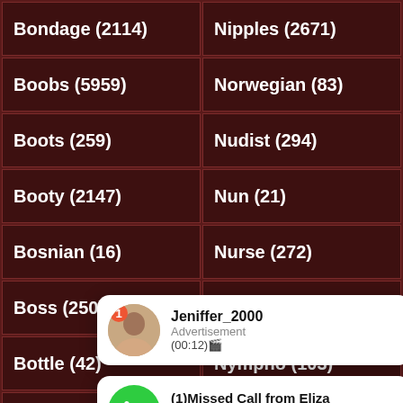Bondage (2114)
Nipples (2671)
Boobs (5959)
Norwegian (83)
Boots (259)
Nudist (294)
Booty (2147)
Nun (21)
Bosnian (16)
Nurse (272)
Boss (250)
Nylon (1333)
Bottle (42)
Nympho (103)
Braz...
...Olir (694)
Bra...
...oil (677)
Bride (48)
Oiled (38)
Briti...
...(Around) (...)
Brunette (42201)
Old Man (81)
[Figure (screenshot): Notification popup from Jeniffer_2000 with avatar photo, badge count 1, text: Advertisement (00:12)]
[Figure (screenshot): Notification popup: (1)Missed Call from Eliza, Advertisement, pleeease call me back.. I miss you!]